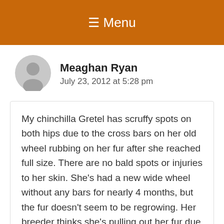☰ Menu
Meaghan Ryan
July 23, 2012 at 5:28 pm
My chinchilla Gretel has scruffy spots on both hips due to the cross bars on her old wheel rubbing on her fur after she reached full size. There are no bald spots or injuries to her skin. She's had a new wide wheel without any bars for nearly 4 months, but the fur doesn't seem to be regrowing. Her breeder thinks she's pulling out her fur due to anxiety, but I've never